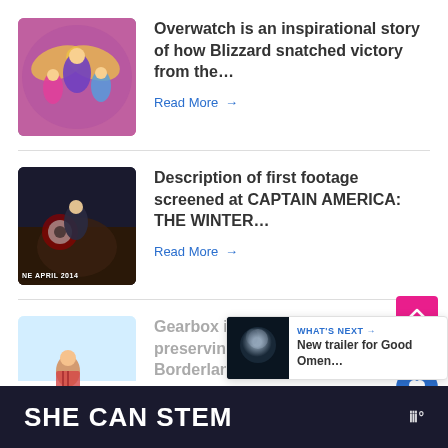[Figure (photo): Overwatch game characters group shot including Mercy with wings]
Overwatch is an inspirational story of how Blizzard snatched victory from the…
Read More →
[Figure (photo): Captain America: The Winter Soldier movie still, dark action scene, April 2014]
Description of first footage screened at CAPTAIN AMERICA: THE WINTER…
Read More →
[Figure (photo): Gearbox related image, older man outdoors in winter landscape]
Gearbox is doing a great job at preserving the visual history of the Borderlands…
Read More →
[Figure (screenshot): What's Next panel with Good Omens thumbnail]
WHAT'S NEXT → New trailer for Good Omen…
SHE CAN STEM